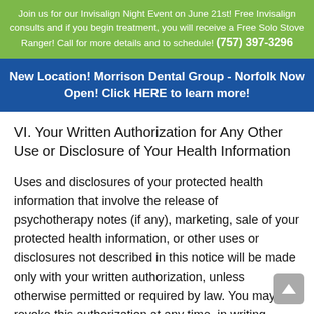Join us for our Invisalign Night Event on June 21st! Free Invisalign consults and if you begin treatment, you will receive a Free Solo Stove Ranger! Call for more details and to schedule! (757) 397-3296
New Location! Morrison Dental Group - Norfolk Now Open! Click HERE to learn more!
VI. Your Written Authorization for Any Other Use or Disclosure of Your Health Information
Uses and disclosures of your protected health information that involve the release of psychotherapy notes (if any), marketing, sale of your protected health information, or other uses or disclosures not described in this notice will be made only with your written authorization, unless otherwise permitted or required by law. You may revoke this authorization at any time, in writing,